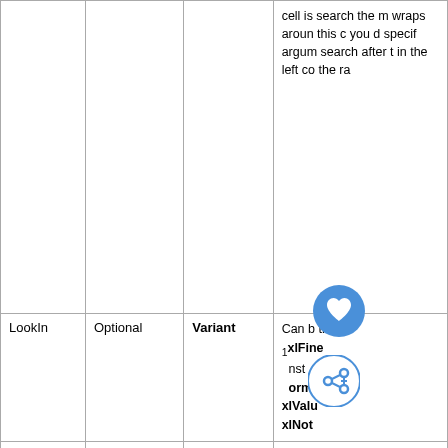|  |  |  |  |
| --- | --- | --- | --- |
|  |  |  | cell is search the m wraps aroun this c you d specif argum search after t in the left co the ra |
| LookIn | Optional | Variant | Can b the fo xlFine nst orm xlValu xlNot |
| LookAt | Optional | Variant | Can b the fo |